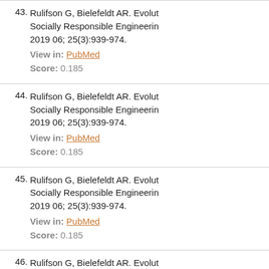43. Rulifson G, Bielefeldt AR. Evolut... Socially Responsible Engineerin... 2019 06; 25(3):939-974. View in: PubMed Score: 0.185
44. Rulifson G, Bielefeldt AR. Evolut... Socially Responsible Engineerin... 2019 06; 25(3):939-974. View in: PubMed Score: 0.185
45. Rulifson G, Bielefeldt AR. Evolut... Socially Responsible Engineerin... 2019 06; 25(3):939-974. View in: PubMed Score: 0.185
46. Rulifson G, Bielefeldt AR. Evolut... Socially Responsible Engineerin...